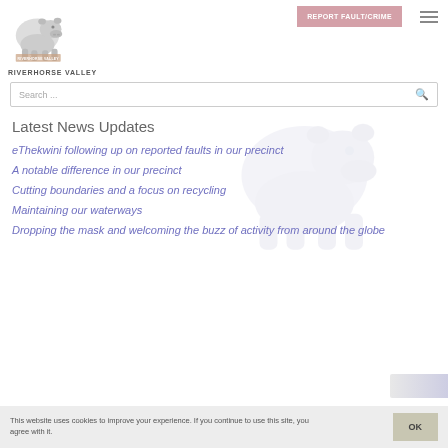[Figure (logo): Riverhorse Valley logo with hippo graphic and text 'RIVERHORSE VALLEY']
REPORT FAULT/CRIME
Search ...
Latest News Updates
eThekwini following up on reported faults in our precinct
A notable difference in our precinct
Cutting boundaries and a focus on recycling
Maintaining our waterways
Dropping the mask and welcoming the buzz of activity from around the globe
This website uses cookies to improve your experience. If you continue to use this site, you agree with it.
OK